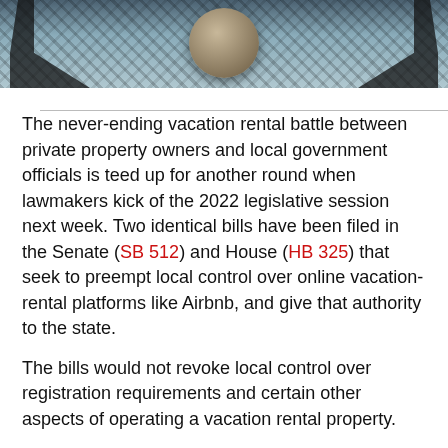[Figure (photo): Cropped photo of outdoor patio furniture including dark metal chairs and a round woven/textured table on tiled flooring, viewed from above]
The never-ending vacation rental battle between private property owners and local government officials is teed up for another round when lawmakers kick of the 2022 legislative session next week. Two identical bills have been filed in the Senate (SB 512) and House (HB 325) that seek to preempt local control over online vacation-rental platforms like Airbnb, and give that authority to the state.
The bills would not revoke local control over registration requirements and certain other aspects of operating a vacation rental property.
State Representative Jason Fischer and State Senator Danny Burgess, both Republicans,